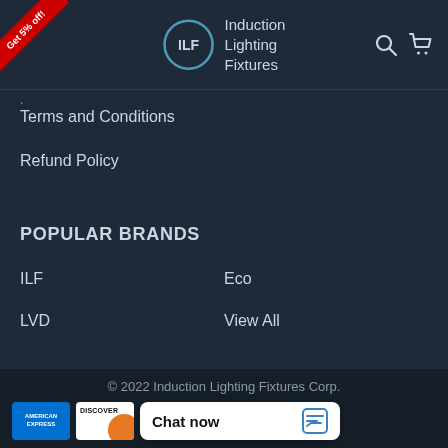[Figure (logo): ILF Induction Lighting Fixtures logo with circular badge and text, plus search and cart icons in header]
Terms and Conditions
Refund Policy
POPULAR BRANDS
ILF
Eco
LVD
View All
© 2022 Induction Lighting Fixtures Corp.
[Figure (logo): American Express and Discover payment card logos, Chat now widget]
[Figure (screenshot): Chat now widget with speech bubble icon]